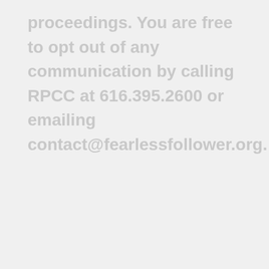proceedings. You are free to opt out of any communication by calling RPCC at 616.395.2600 or emailing contact@fearlessfollower.org.